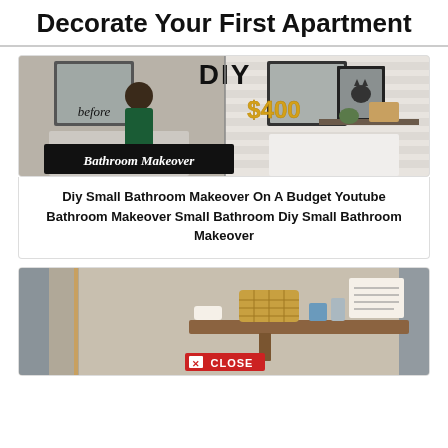Decorate Your First Apartment
[Figure (photo): DIY Bathroom Makeover thumbnail showing before and after bathroom photos with '$400' in gold text and 'Bathroom Makeover' banner]
Diy Small Bathroom Makeover On A Budget Youtube Bathroom Makeover Small Bathroom Diy Small Bathroom Makeover
[Figure (photo): Photo of a bathroom shelf with a wicker basket and toiletry items, with a CLOSE button overlay at the bottom]